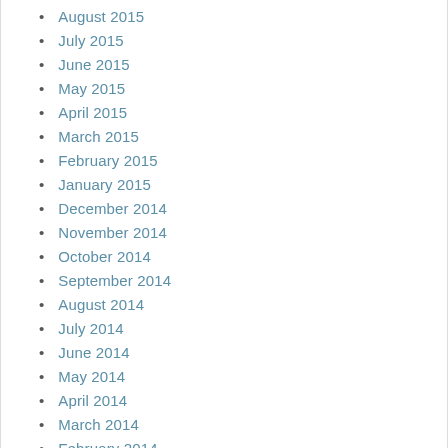August 2015
July 2015
June 2015
May 2015
April 2015
March 2015
February 2015
January 2015
December 2014
November 2014
October 2014
September 2014
August 2014
July 2014
June 2014
May 2014
April 2014
March 2014
February 2014
January 2014
Categories